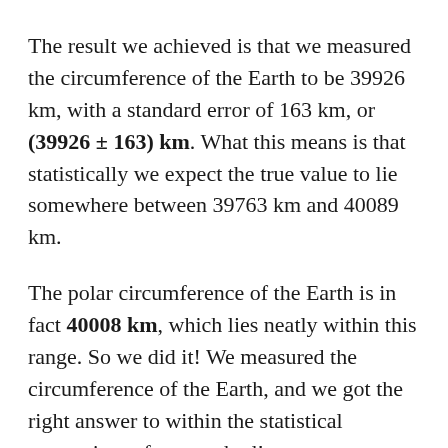The result we achieved is that we measured the circumference of the Earth to be 39926 km, with a standard error of 163 km, or (39926 ± 163) km. What this means is that statistically we expect the true value to lie somewhere between 39763 km and 40089 km.
The polar circumference of the Earth is in fact 40008 km, which lies neatly within this range. So we did it! We measured the circumference of the Earth, and we got the right answer to within the statistical uncertainty of our method!
In one small wrinkle, when everyone was reporting their measurements to me, one person reported that his measurement might be a little bit wrong, because he didn't have access to a level or any other means of ensuring that his stick was exactly vertical when he took the measurement. So he was unsure whether his data